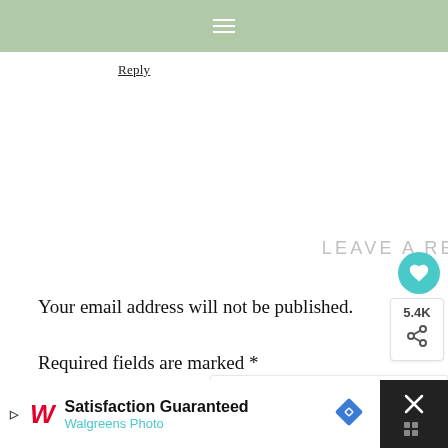≡
Reply
LEAVE A REPLY
Your email address will not be published.
Required fields are marked *
Comment
[Figure (other): Heart/like button (teal circle with heart icon), share count 5.4K, and share button]
[Figure (other): What's Next navigation block: thumbnail image, label WHAT'S NEXT with arrow, title Summer Home Tour 2016]
[Figure (other): Walgreens Photo advertisement banner: Satisfaction Guaranteed, Walgreens Photo logo, blue diamond icon, close button]